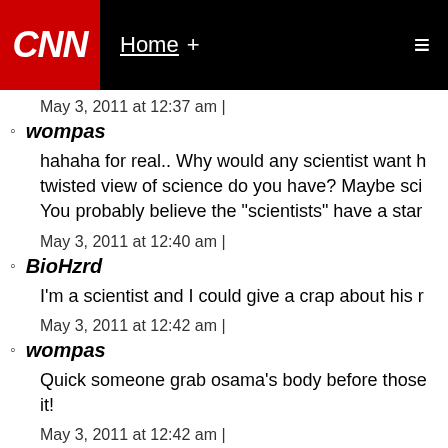CNN | Home +
May 3, 2011 at 12:37 am |
wompas
hahaha for real.. Why would any scientist want h twisted view of science do you have? Maybe sci You probably believe the "scientists" have a star
May 3, 2011 at 12:40 am |
BioHzrd
I'm a scientist and I could give a crap about his r
May 3, 2011 at 12:42 am |
wompas
Quick someone grab osama's body before those it!
May 3, 2011 at 12:42 am |
Schmedly